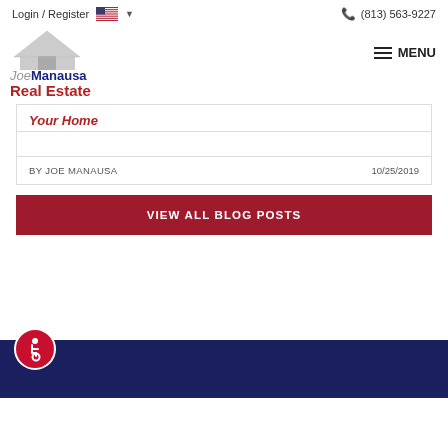Login / Register  (813) 563-9227
[Figure (logo): Joe Manausa Real Estate logo with house icon]
Your Home
BY JOE MANAUSA    10/25/2019
VIEW ALL BLOG POSTS
[Figure (illustration): Accessibility icon — white wheelchair user symbol on red circle badge]